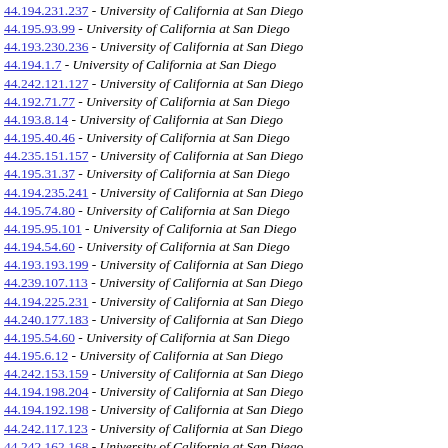44.194.231.237 - University of California at San Diego
44.195.93.99 - University of California at San Diego
44.193.230.236 - University of California at San Diego
44.194.1.7 - University of California at San Diego
44.242.121.127 - University of California at San Diego
44.192.71.77 - University of California at San Diego
44.193.8.14 - University of California at San Diego
44.195.40.46 - University of California at San Diego
44.235.151.157 - University of California at San Diego
44.195.31.37 - University of California at San Diego
44.194.235.241 - University of California at San Diego
44.195.74.80 - University of California at San Diego
44.195.95.101 - University of California at San Diego
44.194.54.60 - University of California at San Diego
44.193.193.199 - University of California at San Diego
44.239.107.113 - University of California at San Diego
44.194.225.231 - University of California at San Diego
44.240.177.183 - University of California at San Diego
44.195.54.60 - University of California at San Diego
44.195.6.12 - University of California at San Diego
44.242.153.159 - University of California at San Diego
44.194.198.204 - University of California at San Diego
44.194.192.198 - University of California at San Diego
44.242.117.123 - University of California at San Diego
44.242.162.168 - University of California at San Diego
44.192.31.37 - University of California at San Diego
44.193.49.55 - University of California at San Diego
44.193.203.209 - University of California at San Diego
44.193.130.136 - University of California at San Diego
44.236.153.159 - University of California at San Diego